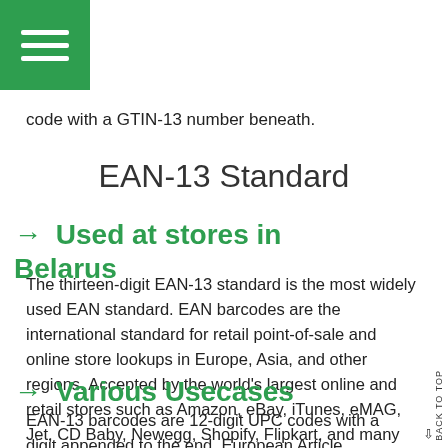[Figure (other): Green hamburger menu button in top-left corner with three white horizontal lines]
code with a GTIN-13 number beneath.
EAN-13 Standard
→ Used at stores in Belarus
The thirteen-digit EAN-13 standard is the most widely used EAN standard. EAN barcodes are the international standard for retail point-of-sale and online store lookups in Europe, Asia, and other regions. Accepted by the world's largest online and retail stores such as Amazon, eBay, iTunes, eMAG, Jet, CD Baby, Newegg, Shopify, Flipkart, and many others.
→ Various Usecases
EAN-13 barcodes are 12-digit UPC codes with a digit appended to the end. European Article Numbers can be used for a variety of purposes, including wholesale ordering